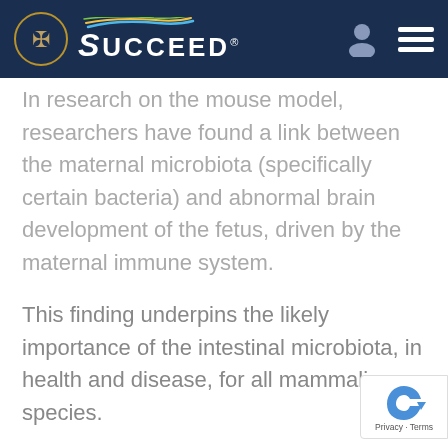SUCCEED
In research on the mouse model, researchers have found a link between the maternal microbiota (specifically certain bacteria) and abnormal brain development of the fetus, driven by the maternal immune system.
This finding underpins the likely importance of the intestinal microbiota, in health and disease, for all mammalian species.